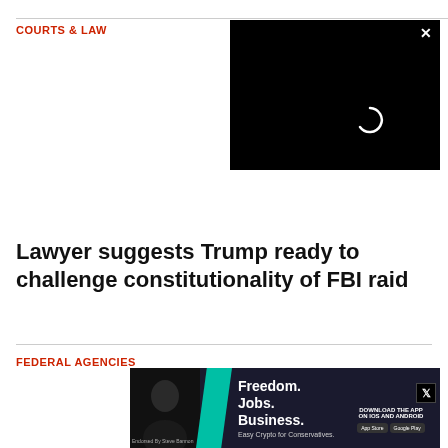COURTS & LAW
[Figure (screenshot): Black video player box with white loading spinner arc and close X button in top-right corner]
Lawyer suggests Trump ready to challenge constitutionality of FBI raid
FEDERAL AGENCIES
[Figure (photo): Advertisement banner: Freedom. Jobs. Business. Easy Crypto for Conservatives. Shows man in dark clothing, teal chevron shape, X logo, and app store download badges.]